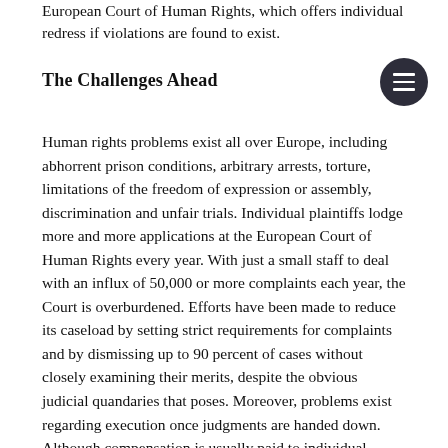European Court of Human Rights, which offers individual redress if violations are found to exist.
The Challenges Ahead
Human rights problems exist all over Europe, including abhorrent prison conditions, arbitrary arrests, torture, limitations of the freedom of expression or assembly, discrimination and unfair trials. Individual plaintiffs lodge more and more applications at the European Court of Human Rights every year. With just a small staff to deal with an influx of 50,000 or more complaints each year, the Court is overburdened. Efforts have been made to reduce its caseload by setting strict requirements for complaints and by dismissing up to 90 percent of cases without closely examining their merits, despite the obvious judicial quandaries that poses. Moreover, problems exist regarding execution once judgments are handed down. Although compensation is usually paid to individual victims, political will and capacity are often lacking to tackle the underlying structural human rights problems. Indeed, several states